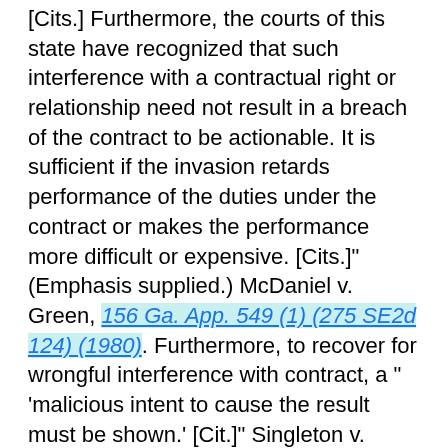[Cits.] Furthermore, the courts of this state have recognized that such interference with a contractual right or relationship need not result in a breach of the contract to be actionable. It is sufficient if the invasion retards performance of the duties under the contract or makes the performance more difficult or expensive. [Cits.]" (Emphasis supplied.) McDaniel v. Green, 156 Ga. App. 549 (1) (275 SE2d 124) (1980). Furthermore, to recover for wrongful interference with contract, a " 'malicious intent to cause the result must be shown.' [Cit.]" Singleton v. Itson, 192 Ga. App. 78, 79 (383 SE2d 598) (1989). "The terms 'malicious' and 'maliciously'